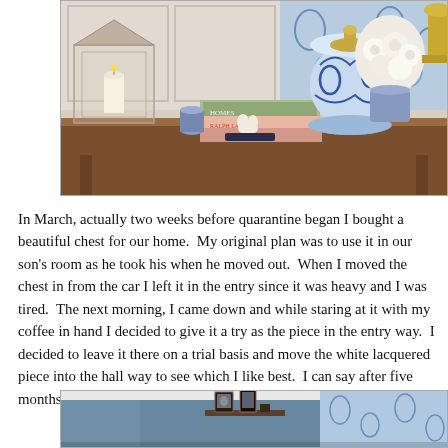[Figure (photo): Interior home decor photo showing a wooden console/entry table with decorative items: a glass lantern with candle on the left, a stack of books (including a Ralph Lauren book) in the center, a small blue ceramic piece, a white rabbit figurine, white roses in a blue and white ginger jar vase on the right, and blue and white floral wallpaper in the background.]
In March, actually two weeks before quarantine began I bought a beautiful chest for our home.  My original plan was to use it in our son's room as he took his when he moved out.  When I moved the chest in from the car I left it in the entry since it was heavy and I was tired.  The next morning, I came down and while staring at it with my coffee in hand I decided to give it a try as the piece in the entry way.  I decided to leave it there on a trial basis and move the white lacquered piece into the hall way to see which I like best.  I can say after five months of "trying it", it is official, we have a new piece in the foyer!
[Figure (photo): Interior photo showing a hallway or foyer area with a blue painted wall and blue and white floral wallpaper on the right. A small wooden shelf is mounted on the blue wall with framed photos or artwork displayed on it.]